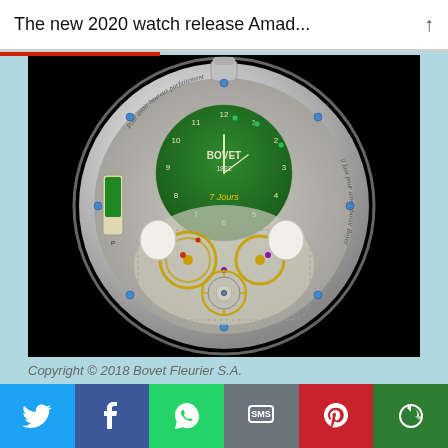The new 2020 watch release Amad...
[Figure (photo): Bovet 1822 luxury pocket watch with green dial, tourbillon, skeleton movement visible, silver case, on black background]
Copyright © 2018 Bovet Fleurier S.A.
[Figure (infographic): Social media share buttons bar: Twitter (blue), Facebook (dark blue), WhatsApp (green), SMS (grey), Pinterest (red), More (dark green)]